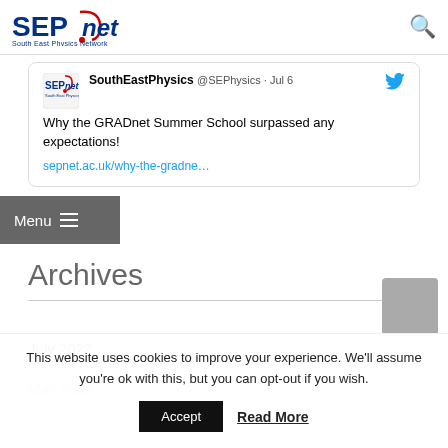SEPnet South East Physics Network
[Figure (screenshot): Tweet card from @SEPhysics (SouthEastPhysics) dated Jul 6 with text: Why the GRADnet Summer School surpassed any expectations! sepnet.ac.uk/why-the-gradne...]
Menu
Archives
July 2022
May 2022 (partially visible)
This website uses cookies to improve your experience. We'll assume you're ok with this, but you can opt-out if you wish.
Accept   Read More